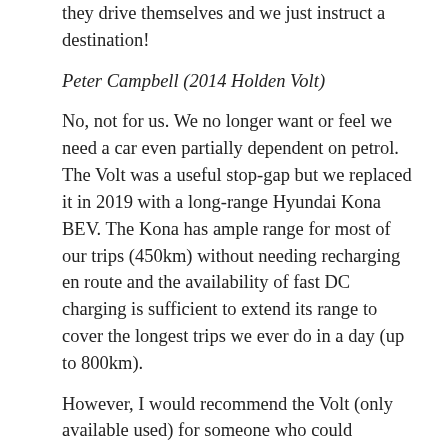they drive themselves and we just instruct a destination!
Peter Campbell (2014 Holden Volt)
No, not for us. We no longer want or feel we need a car even partially dependent on petrol. The Volt was a useful stop-gap but we replaced it in 2019 with a long-range Hyundai Kona BEV. The Kona has ample range for most of our trips (450km) without needing recharging en route and the availability of fast DC charging is sufficient to extend its range to cover the longest trips we ever do in a day (up to 800km).
However, I would recommend the Volt (only available used) for someone who could otherwise only afford the earliest of used BEVs such as an early Leaf with declining battery capacity. For such a person, the Volt could be used as an urban BEV with almost no petrol use but also with no range